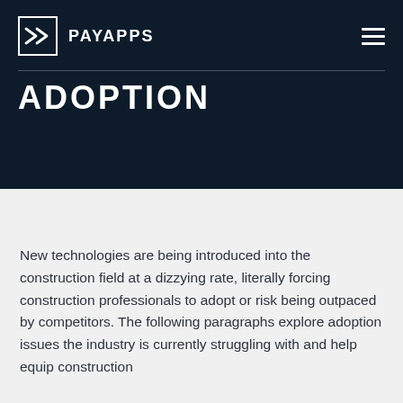PAYAPPS
ADOPTION
New technologies are being introduced into the construction field at a dizzying rate, literally forcing construction professionals to adopt or risk being outpaced by competitors. The following paragraphs explore adoption issues the industry is currently struggling with and help equip construction